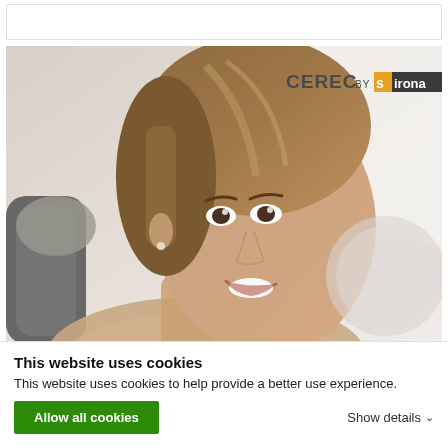[Figure (photo): Dental clinic photo showing a smiling woman in a dental chair with CEREC by Sirona logo in the top right corner]
Cerec restoration
This website uses cookies
This website uses cookies to help provide a better use experience.
Allow all cookies
Show details